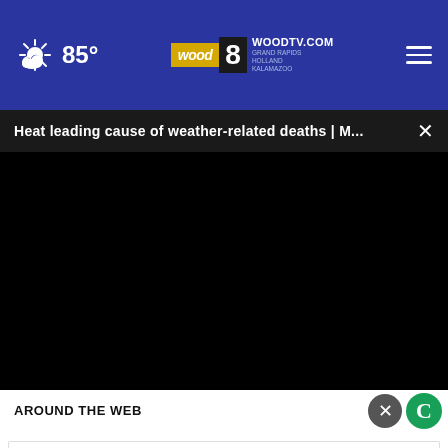85° WOODTV.COM GRAND RAPIDS HOLLAND KALAMAZOO
Heat leading cause of weather-related deaths | M...
[Figure (screenshot): Black video player area with no content visible]
AROUND THE WEB
[Figure (screenshot): Advertisement banner: Visit Premium Outlets® Leesburg Premium Outlets with logo and navigation arrow icon]